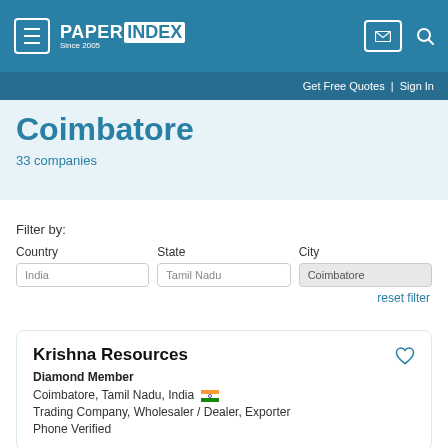PAPER INDEX Since 2005 | Get Free Quotes | Sign In
Coimbatore
33 companies
Filter by:
Country: India | State: Tamil Nadu | City: Coimbatore
reset filter
Krishna Resources
Diamond Member
Coimbatore, Tamil Nadu, India
Trading Company, Wholesaler / Dealer, Exporter
Phone Verified